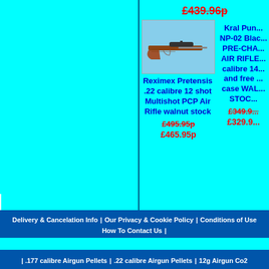£439.96p (strikethrough, top price)
[Figure (photo): Air rifle product photo - brown/walnut stock rifle with scope]
Reximex Pretensis .22 calibre 12 shot Multishot PCP Air Rifle walnut stock
£495.95p (strikethrough old price)
£465.95p (new price)
Kral Pun... NP-02 Bla... PRE-CHA... AIR RIFLE... calibre 14... and free... case WA... STOC...
£349.9... (strikethrough)
£329.9... (new price)
Delivery & Cancelation Info | Our Privacy & Cookie Policy | Conditions of Use | How To Contact Us |
| .177 calibre Airgun Pellets | .22 calibre Airgun Pellets | 12g Airgun Co2